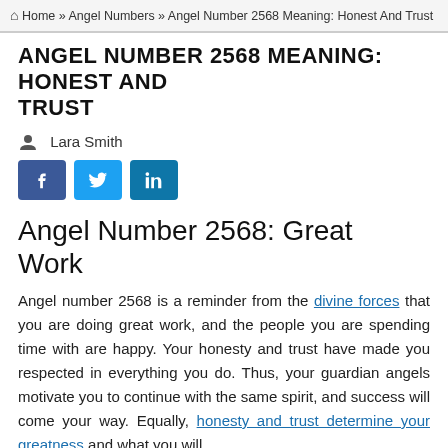Home » Angel Numbers » Angel Number 2568 Meaning: Honest And Trust
ANGEL NUMBER 2568 MEANING: HONEST AND TRUST
Lara Smith
[Figure (infographic): Social share buttons: Facebook (blue), Twitter (light blue), LinkedIn (teal/blue)]
Angel Number 2568: Great Work
Angel number 2568 is a reminder from the divine forces that you are doing great work, and the people you are spending time with are happy. Your honesty and trust have made you respected in everything you do. Thus, your guardian angels motivate you to continue with the same spirit, and success will come your way. Equally, honesty and trust determine your greatness and what you will